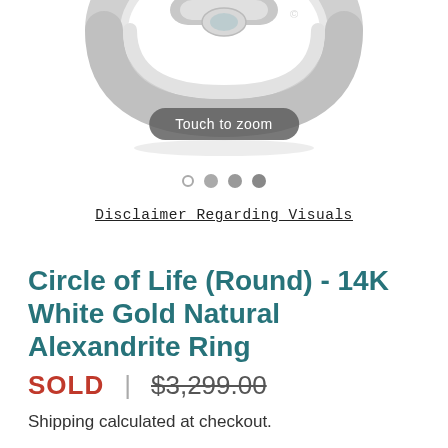[Figure (photo): Close-up photo of a silver/white gold ring with a gemstone, shown from an angle, cropped at top]
Touch to zoom
[Figure (other): Carousel navigation dots: one empty circle, two filled gray circles, one filled darker gray circle]
Disclaimer Regarding Visuals
Circle of Life (Round) - 14K White Gold Natural Alexandrite Ring
SOLD   $3,299.00
Shipping calculated at checkout.